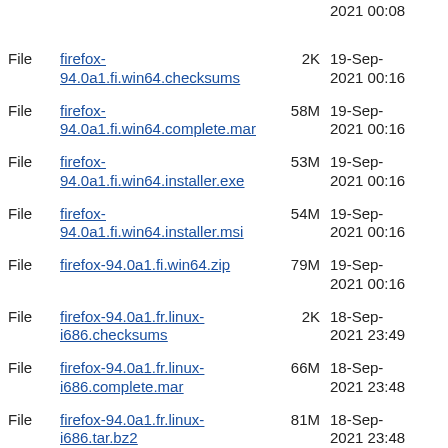File firefox-94.0a1.fi.win64.checksums 2K 19-Sep-2021 00:16
File firefox-94.0a1.fi.win64.complete.mar 58M 19-Sep-2021 00:16
File firefox-94.0a1.fi.win64.installer.exe 53M 19-Sep-2021 00:16
File firefox-94.0a1.fi.win64.installer.msi 54M 19-Sep-2021 00:16
File firefox-94.0a1.fi.win64.zip 79M 19-Sep-2021 00:16
File firefox-94.0a1.fr.linux-i686.checksums 2K 18-Sep-2021 23:49
File firefox-94.0a1.fr.linux-i686.complete.mar 66M 18-Sep-2021 23:48
File firefox-94.0a1.fr.linux-i686.tar.bz2 81M 18-Sep-2021 23:48
File firefox-94.0a1.fr.linux-i686.tar.bz2.asc 833 18-Sep-2021 23:48
File firefox-94.0a1.fr.linux-x86_64.checksums 2K 18-Sep-2021 23:34
File firefox-94.0a1.fr.linux-x86_64.complete.mar 65M 18-Sep-2021 23:33